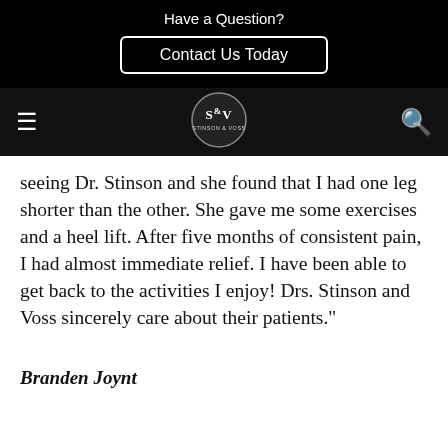Have a Question?
Contact Us Today
[Figure (logo): S&V logo circular badge in black and white]
seeing Dr. Stinson and she found that I had one leg shorter than the other. She gave me some exercises and a heel lift. After five months of consistent pain, I had almost immediate relief. I have been able to get back to the activities I enjoy! Drs. Stinson and Voss sincerely care about their patients."
Branden Joynt